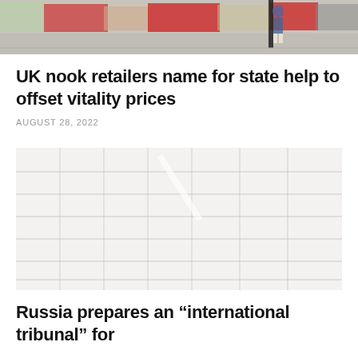[Figure (photo): Street scene with market stalls and shops, person standing near a lamp post on a pavement]
UK nook retailers name for state help to offset vitality prices
AUGUST 28, 2022
[Figure (photo): Faded/washed out interior or exterior scene with shelf-like structures, very light overexposed image]
Russia prepares an “international tribunal” for